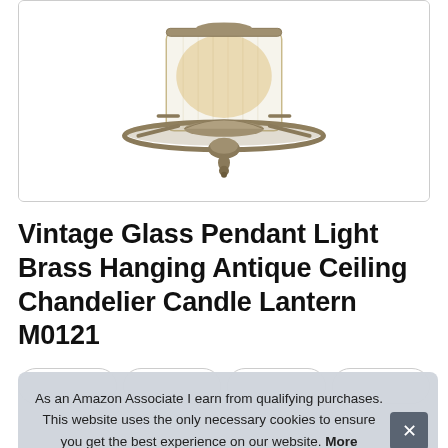[Figure (photo): Vintage brass pendant light chandelier with clear glass shade, photographed from below against a white background. The antique brass metal frame has a circular ring and central canopy with glass cylinder shade.]
Vintage Glass Pendant Light Brass Hanging Antique Ceiling Chandelier Candle Lantern M0121
As an Amazon Associate I earn from qualifying purchases. This website uses the only necessary cookies to ensure you get the best experience on our website. More information